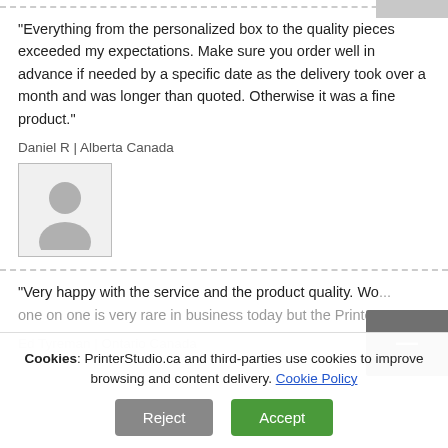"Everything from the personalized box to the quality pieces exceeded my expectations. Make sure you order well in advance if needed by a specific date as the delivery took over a month and was longer than quoted. Otherwise it was a fine product."
Daniel R | Alberta Canada
[Figure (photo): Avatar placeholder image showing silhouette of a person]
"Very happy with the service and the product quality. Wo... one on one is very rare in business today but the Printe...
Ed Tyreman | Ontario Canada
Cookies: PrinterStudio.ca and third-parties use cookies to improve browsing and content delivery. Cookie Policy
Reject
Accept